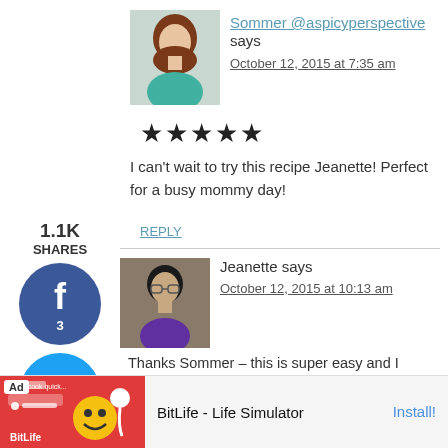Sommer @aspicyperspective says
October 12, 2015 at 7:35 am
[Figure (illustration): 5 black star rating icons]
I can't wait to try this recipe Jeanette! Perfect for a busy mommy day!
REPLY
1.1K SHARES
[Figure (illustration): Facebook share button with count 3]
[Figure (illustration): Twitter share button]
[Figure (illustration): Pinterest share button with count 1.1K]
[Figure (illustration): Yummly share button]
Jeanette says
October 12, 2015 at 10:13 am
Thanks Sommer – this is super easy and I couldn't agree more – perfect for busy mommy days ☺
Ad BitLife - Life Simulator Install!